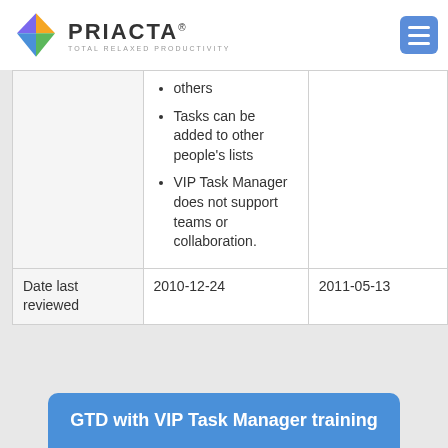PRIACTA® TOTAL RELAXED PRODUCTIVITY
|  | others
Tasks can be added to other people's lists
VIP Task Manager does not support teams or collaboration. |  |
| Date last reviewed | 2010-12-24 | 2011-05-13 |
GTD with VIP Task Manager training